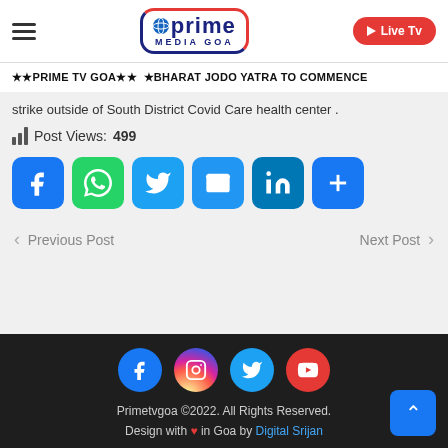[Figure (logo): Prime Media Goa logo with globe icon, blue text, and red border. Hamburger menu on left, Live TV red button on right.]
★★PRIME TV GOA★★  ★BHARAT JODO YATRA TO COMMENCE
strike outside of South District Covid Care health center .
Post Views: 499
[Figure (infographic): Row of social share buttons: Facebook (blue), WhatsApp (green), Twitter (blue), Email (blue), LinkedIn (teal), More (blue)]
< Previous Post    Next Post >
[Figure (infographic): Footer with social icons: Facebook, Instagram, Twitter, YouTube circles. Text: Primetvgoa ©2022. All Rights Reserved. Design with heart in Goa by Digital Srijan. Back to top button.]
Primetvgoa ©2022. All Rights Reserved. Design with ♥ in Goa by Digital Srijan